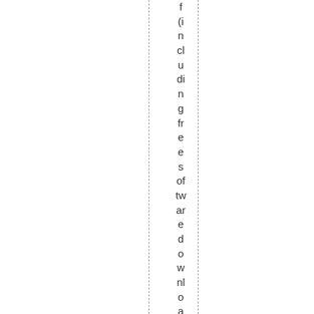f (including freesoftware downloads) will meet v